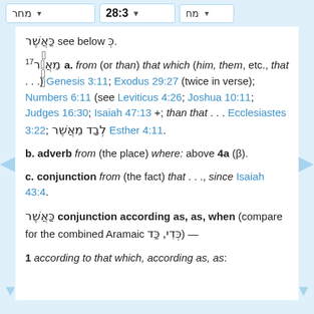28:3
כַּאֲשֶׁר see below כְּ.
17 מֵאֲשֶׁר a. from (or than) that which (him, them, etc., that . . .) Genesis 3:11; Exodus 29:27 (twice in verse); Numbers 6:11 (see Leviticus 4:26; Joshua 10:11; Judges 16:30; Isaiah 47:13 +; than that . . . Ecclesiastes 3:22; לְבַד מֵאֲשֶׁר Esther 4:11.
b. adverb from (the place) where: above 4a (β).
c. conjunction from (the fact) that . . ., since Isaiah 43:4.
כַּאֲשֶׁר conjunction according as, as, when (compare for the combined Aramaic כְּדִי, כַּד) —
1 according to that which, according as, as: